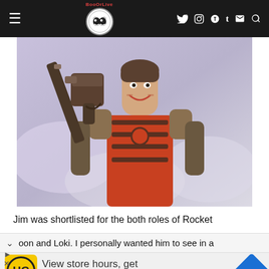BooOrLive website navigation bar with logo, hamburger menu, and social icons (Twitter, Instagram, Pinterest, Tumblr, Email, Search)
[Figure (photo): Photo of a man (Jim Carrey face) wearing a red and black Deadpool-style superhero costume and holding a large gun, with a light purple/grey cloudy background]
Jim was shortlisted for the both roles of Rocket
oon and Loki. I personally wanted him to see in a
View store hours, get directions, or call your salon!